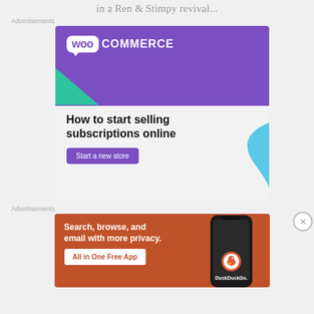in a Ren & Stimpy revival...
Advertisements
[Figure (illustration): WooCommerce advertisement: purple banner with WooCommerce logo, teal and blue decorative shapes, text 'How to start selling subscriptions online', button 'Start a new store']
Advertisements
[Figure (illustration): DuckDuckGo advertisement on orange background: 'Search, browse, and email with more privacy. All in One Free App' with phone mockup showing DuckDuckGo logo]